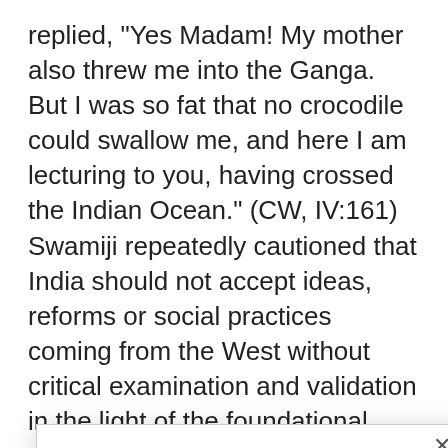replied, “Yes Madam! My mother also threw me into the Ganga. But I was so fat that no crocodile could swallow me, and here I am lecturing to you, having crossed the Indian Ocean.” (CW, IV:161) Swamiji repeatedly cautioned that India should not accept ideas, reforms or social practices coming from the West without critical examination and validation in the light of the foundational values of
[Figure (screenshot): Modal dialog with title 'Donate to Sanatan Dharma Causes !' and two buttons: 'DONATE!' (orange) and 'Later!' (gray). A close button (x) is in the top right. AddThis branding in the bottom right.]